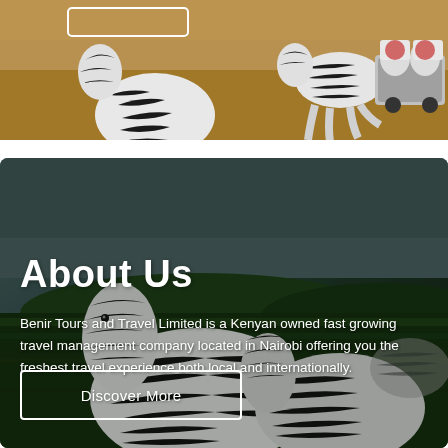[Figure (photo): Top banner photo showing zebras on a savanna with a vehicle/truck in the background. Warm earthy tones with dry grass.]
[Figure (photo): Background photo of zebras standing in green grassland with overcast grey sky. Dark overlay applied.]
About Us
Benir Tours and Travel Limited is a Kenyan owned fast growing travel management company located in Nairobi offering you the freshest travel experience both local and internationally.
Discover More